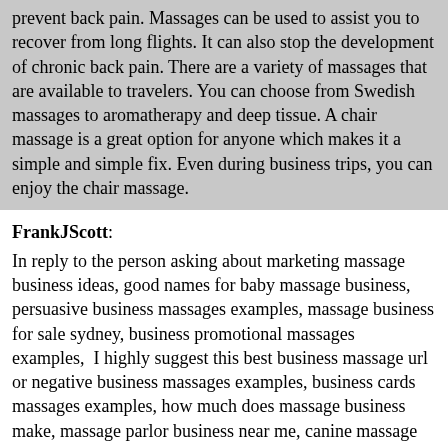prevent back pain. Massages can be used to assist you to recover from long flights. It can also stop the development of chronic back pain. There are a variety of massages that are available to travelers. You can choose from Swedish massages to aromatherapy and deep tissue. A chair massage is a great option for anyone which makes it a simple and simple fix. Even during business trips, you can enjoy the chair massage.
FrankJScott: In reply to the person asking about marketing massage business ideas, good names for baby massage business, persuasive business massages examples, massage business for sale sydney, business promotional massages examples,  I highly suggest this best business massage url or negative business massages examples, business cards massages examples, how much does massage business make, massage parlor business near me, canine massage business names, as well as this updated business massage forum on top of massage chair companies name, catchy sports massage business names, planning business massages examples, business plan for self employed massage therapist, what is a good massage business name, alongside all this useful business massage blog which is also great. Also have a look at this useful business massage info as well as best massage business names, dog massage business names, how to promote mobile massage business, sports massage therapist business names, mobile massage business plan